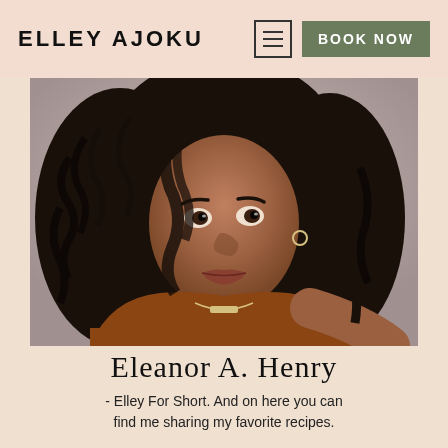ELLEY AJOKU
[Figure (photo): Portrait photo of a young Black woman with long curly dark hair, wearing a rust/brown top, looking directly at the camera with a relaxed expression. She has a delicate necklace and is photographed against a light grey background.]
Eleanor A. Henry
- Elley For Short. And on here you can find me sharing my favorite recipes.